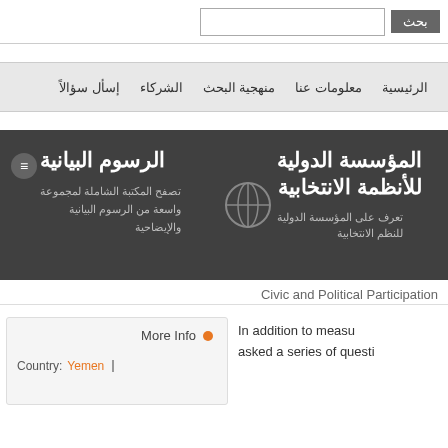بحث [search bar]
الرئيسية  معلومات عنا  منهجية البحث  الشركاء  إسأل سؤالاً
المؤسسة الدولية للأنظمة الانتخابية
تعرف على المؤسسة الدولية للنظم الانتخابية
الرسوم البيانية
تصفح المكتبة الشاملة لمجموعة واسعة من الرسوم البيانية والإيضاحية
Civic and Political Participation
More Info
Country: Yemen
In addition to measu asked a series of questi